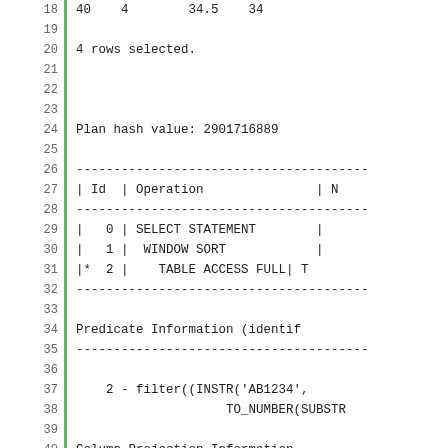18   40   4        34.5   34
19
20   4 rows selected.
21
22
23
24   Plan hash value: 2901716889
25
26   -------------------------------------------
27   | Id  | Operation               | N
28   -------------------------------------------
29   |   0 | SELECT STATEMENT        |
30   |   1 |  WINDOW SORT            |
31   |*  2 |    TABLE ACCESS FULL| T
32   -------------------------------------------
33
34   Predicate Information (identif
35   -------------------------------------------
36
37       2 - filter((INSTR('AB1234',
38                         TO_NUMBER(SUBSTR
39
40   Column Projection Information
41   -------------------------------------------
42
43       1 - (#keys=1) CASE  WHEN "E